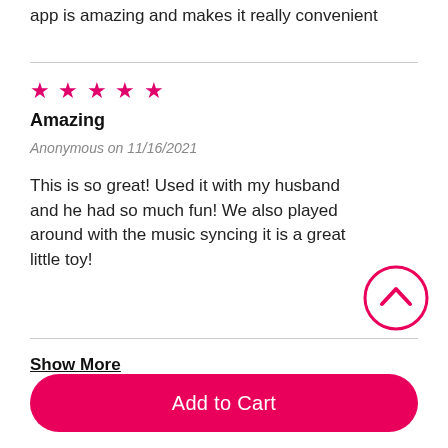app is amazing and makes it really convenient
★ ★ ★ ★ ★
Amazing
Anonymous on 11/16/2021
This is so great! Used it with my husband and he had so much fun! We also played around with the music syncing it is a great little toy!
Show More
Add to Cart